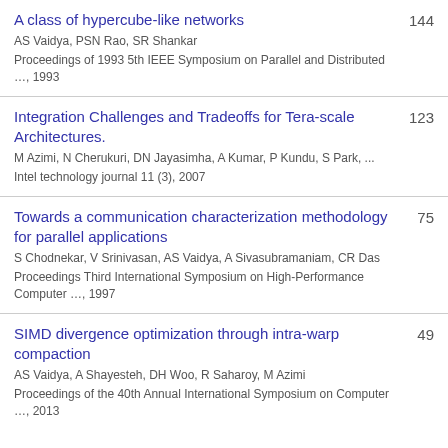A class of hypercube-like networks
AS Vaidya, PSN Rao, SR Shankar
Proceedings of 1993 5th IEEE Symposium on Parallel and Distributed …, 1993
144
Integration Challenges and Tradeoffs for Tera-scale Architectures.
M Azimi, N Cherukuri, DN Jayasimha, A Kumar, P Kundu, S Park, ...
Intel technology journal 11 (3), 2007
123
Towards a communication characterization methodology for parallel applications
S Chodnekar, V Srinivasan, AS Vaidya, A Sivasubramaniam, CR Das
Proceedings Third International Symposium on High-Performance Computer …, 1997
75
SIMD divergence optimization through intra-warp compaction
AS Vaidya, A Shayesteh, DH Woo, R Saharoy, M Azimi
Proceedings of the 40th Annual International Symposium on Computer …, 2013
49